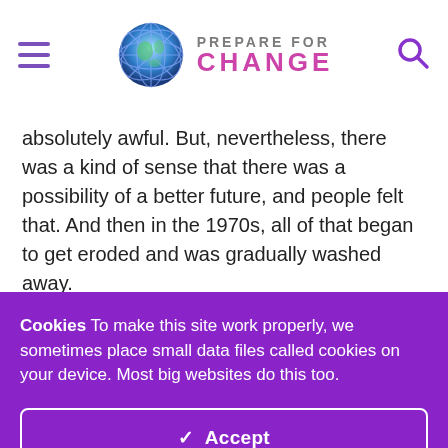PREPARE FOR CHANGE
absolutely awful. But, nevertheless, there was a kind of sense that there was a possibility of a better future, and people felt that. And then in the 1970s, all of that began to get eroded and was gradually washed away.
There was a time when people felt that being entrepreneurial
Cookies To make this site work properly, we sometimes place small data files called cookies on your device. Most big websites do this too.
✓ Accept
Change Settings ⚙